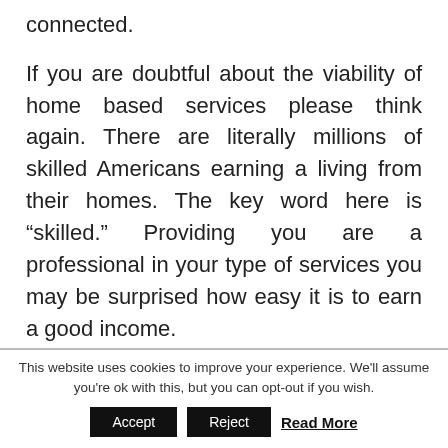connected.
If you are doubtful about the viability of home based services please think again. There are literally millions of skilled Americans earning a living from their homes. The key word here is “skilled.” Providing you are a professional in your type of services you may be surprised how easy it is to earn a good income.
Licensing
This website uses cookies to improve your experience. We'll assume you're ok with this, but you can opt-out if you wish.
Accept  Reject  Read More